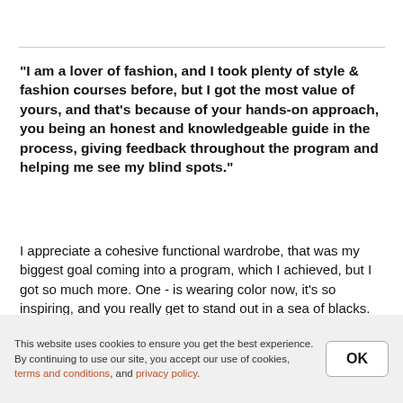"I am a lover of fashion, and I took plenty of style & fashion courses before, but I got the most value of yours, and that's because of your hands-on approach, you being an honest and knowledgeable guide in the process, giving feedback throughout the program and helping me see my blind spots."
I appreciate a cohesive functional wardrobe, that was my biggest goal coming into a program, which I achieved, but I got so much more. One - is wearing color now, it's so inspiring, and you really get to stand out in a sea of blacks. Another is knowing how to put together the
This website uses cookies to ensure you get the best experience. By continuing to use our site, you accept our use of cookies, terms and conditions, and privacy policy.